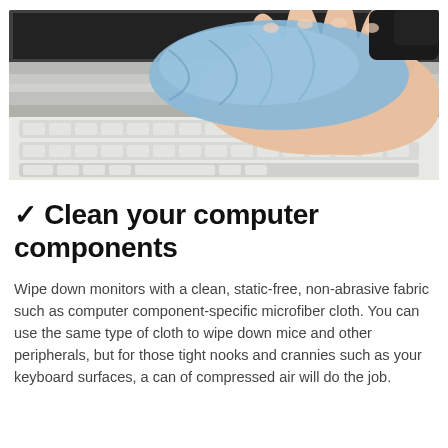[Figure (photo): A hand holding a blue microfiber cloth, wiping the screen/top of a white laptop keyboard. The keyboard keys are visible in the foreground and background.]
✓ Clean your computer components
Wipe down monitors with a clean, static-free, non-abrasive fabric such as computer component-specific microfiber cloth. You can use the same type of cloth to wipe down mice and other peripherals, but for those tight nooks and crannies such as your keyboard surfaces, a can of compressed air will do the job.